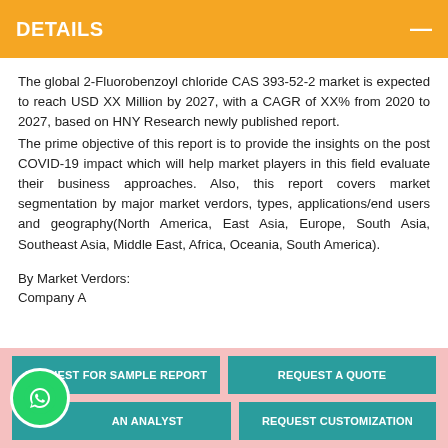DETAILS
The global 2-Fluorobenzoyl chloride CAS 393-52-2 market is expected to reach USD XX Million by 2027, with a CAGR of XX% from 2020 to 2027, based on HNY Research newly published report.
The prime objective of this report is to provide the insights on the post COVID-19 impact which will help market players in this field evaluate their business approaches. Also, this report covers market segmentation by major market verdors, types, applications/end users and geography(North America, East Asia, Europe, South Asia, Southeast Asia, Middle East, Africa, Oceania, South America).
By Market Verdors:
Company A
REQUEST FOR SAMPLE REPORT
REQUEST A QUOTE
AN ANALYST
REQUEST CUSTOMIZATION